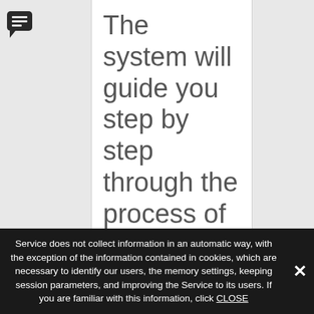[Figure (illustration): Chat bubble / speech bubble icon in dark gray/black, located in the upper left area]
The system will guide you step by step through the process of impairment testing, so that even if you know very little about this difficult issue you will be able to easily analyze the impairment
Service does not collect information in an automatic way, with the exception of the information contained in cookies, which are necessary to identify our users, the memory settings, keeping session parameters, and improving the Service to its users. If you are familiar with this information, click CLOSE